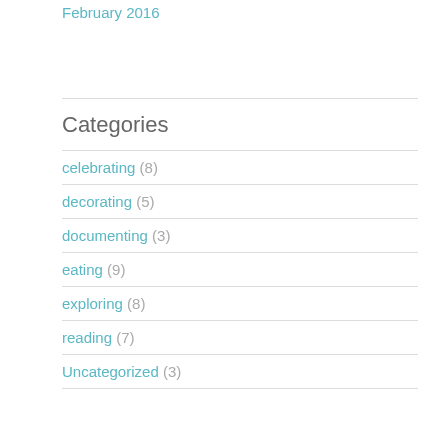February 2016
Categories
celebrating (8)
decorating (5)
documenting (3)
eating (9)
exploring (8)
reading (7)
Uncategorized (3)